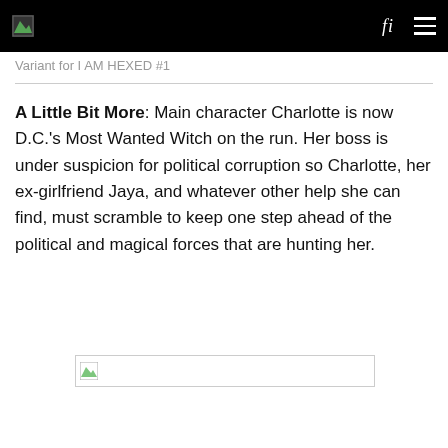Variant for I AM HEXED #1
A Little Bit More: Main character Charlotte is now D.C.'s Most Wanted Witch on the run. Her boss is under suspicion for political corruption so Charlotte, her ex-girlfriend Jaya, and whatever other help she can find, must scramble to keep one step ahead of the political and magical forces that are hunting her.
[Figure (photo): Broken image placeholder]